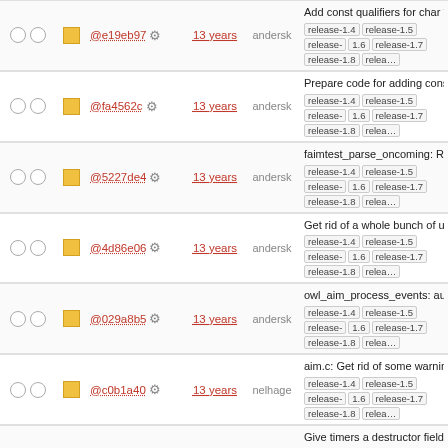|  |  | hash | age | author | description |
| --- | --- | --- | --- | --- | --- |
| ○ ○ | ■ | @e19eb97 ⚙ | 13 years | andersk | Add const qualifiers for char * a void *. Signed-off-by: Anders ... release-1.4 release-1.5 release-1.6 release-1.7 release-1.8 relea… |
| ○ ○ | ■ | @fa4562c ⚙ | 13 years | andersk | Prepare code for adding const qualifiers for char * and void *. … release-1.4 release-1.5 release-1.6 release-1.7 release-1.8 relea… |
| ○ ○ | ■ | @5227de4 ⚙ | 13 years | andersk | faimtest_parse_oncoming: Rem unused owl_global_get_buddyli release-1.4 release-1.5 release-1.6 release-1.7 release-1.8 relea… |
| ○ ○ | ■ | @4d86e06 ⚙ | 13 years | andersk | Get rid of a whole bunch of use casts. Signed-off-by: Anders ... release-1.4 release-1.5 release-1.6 release-1.7 release-1.8 relea… |
| ○ ○ | ■ | @029a8b5 ⚙ | 13 years | andersk | owl_aim_process_events: aux_ is already a pointer; don't take i release-1.4 release-1.5 release-1.6 release-1.7 release-1.8 relea… |
| ○ ○ | ■ | @c0b1a40 ⚙ | 13 years | nelhage | aim.c: Get rid of some warnings was giving warnings because ... release-1.4 release-1.5 release-1.6 release-1.7 release-1.8 relea… |
| ○ ○ | ■ | @c675b39 ⚙ | 14 years | nelhage | Give timers a destructor field. P timers are going to need this in debian release-1.4 release-1.5 release-1.6 release-1.7 relea… release-1.8 release-1.9 |
| ○ ○ | ■ | @b7bb454 ⚙ | 14 years | nelhage | Make owl_timer have a callbac integrate into the select() loop. debian release-1.4 release-1.5 release-1.6 release-1.7… |